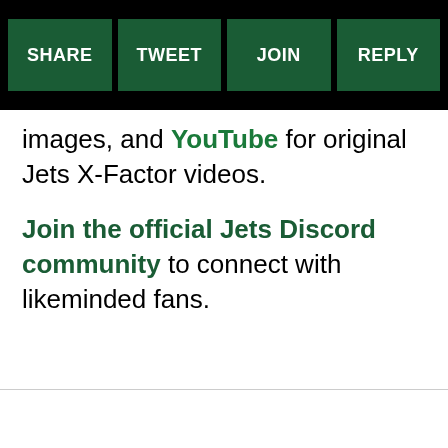[Figure (other): Navigation button bar with four green buttons: SHARE, TWEET, JOIN, REPLY on black background]
images, and YouTube for original Jets X-Factor videos.
Join the official Jets Discord community to connect with likeminded fans.